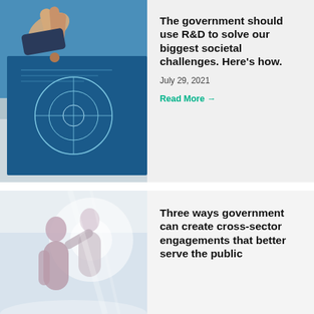[Figure (photo): Person pointing at a blue technical blueprint or diagram on a table]
The government should use R&D to solve our biggest societal challenges. Here's how.
July 29, 2021
Read More →
[Figure (photo): Double exposure of two people silhouettes against a bright background with cityscape]
Three ways government can create cross-sector engagements that better serve the public